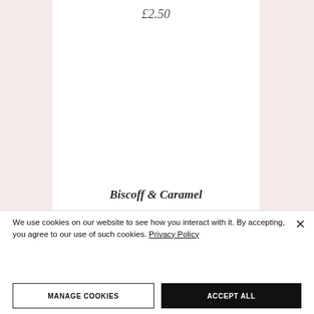£2.50
[Figure (photo): Product image area for Biscoff & Caramel item, white background]
Biscoff & Caramel
We use cookies on our website to see how you interact with it. By accepting, you agree to our use of such cookies. Privacy Policy
MANAGE COOKIES
ACCEPT ALL